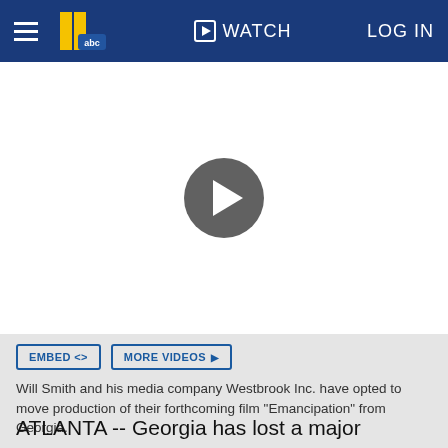WATCH  LOG IN
[Figure (screenshot): Video player area with a circular play button in the center on a white background]
EMBED <>   MORE VIDEOS ▶
Will Smith and his media company Westbrook Inc. have opted to move production of their forthcoming film "Emancipation" from Georgia.
ATLANTA -- Georgia has lost a major production because of its newly restrictive voting legislation...